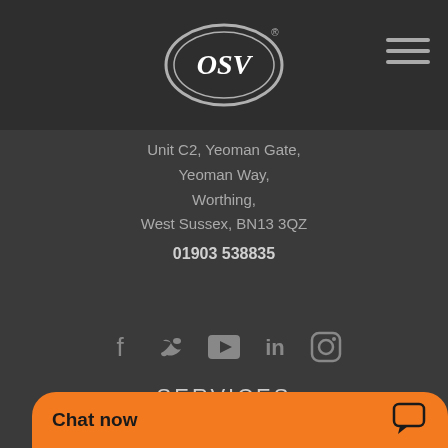[Figure (logo): OSV logo — oval shape with OSV lettering in white/silver on dark background]
[Figure (illustration): Hamburger menu icon — three horizontal lines on top right]
Unit C2, Yeoman Gate,
Yeoman Way,
Worthing,
West Sussex, BN13 3QZ
01903 538835
[Figure (illustration): Social media icons: Facebook, Twitter, YouTube, LinkedIn, Instagram]
SERVICES
All Cars
Car Finance
[Figure (other): Chat now button bar in orange with chat bubble icon]